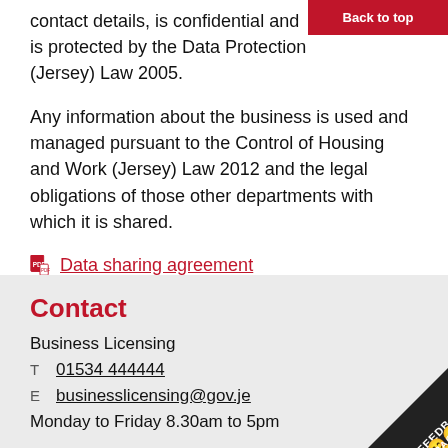contact details, is confidential and is protected by the Data Protection (Jersey) Law 2005.
Any information about the business is used and managed pursuant to the Control of Housing and Work (Jersey) Law 2012 and the legal obligations of those other departments with which it is shared.
Data sharing agreement
Contact
Business Licensing
T  01534 444444
E  businesslicensing@gov.je
Monday to Friday 8.30am to 5pm